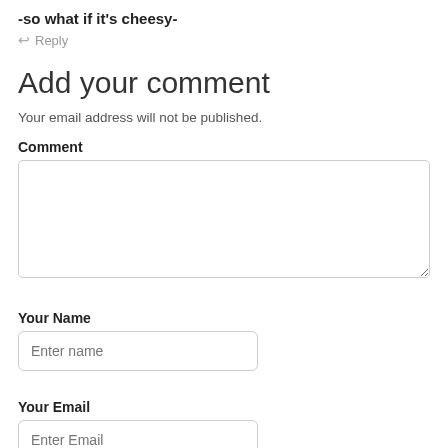-so what if it's cheesy-
↩ Reply
Add your comment
Your email address will not be published.
Comment
Your Name
Enter name
Your Email
Enter Email